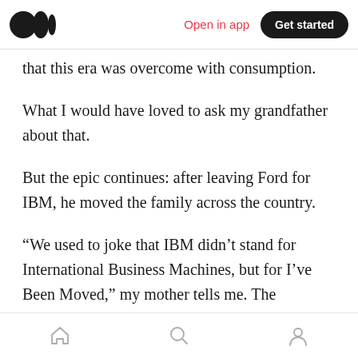Medium app header with logo, Open in app, Get started
that this era was overcome with consumption.
What I would have loved to ask my grandfather about that.
But the epic continues: after leaving Ford for IBM, he moved the family across the country.
“We used to joke that IBM didn’t stand for International Business Machines, but for I’ve Been Moved,” my mother tells me. The company was expanding and needed its employees to hop from city to city, pushing the slow movement of
Bottom navigation bar with home, search, and profile icons